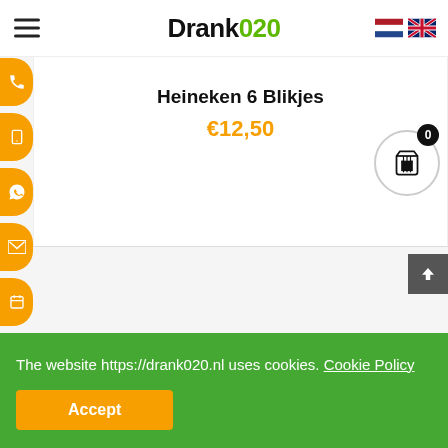Drank020
Heineken 6 Blikjes
€12,50
The website https://drank020.nl uses cookies. Cookie Policy
Accept